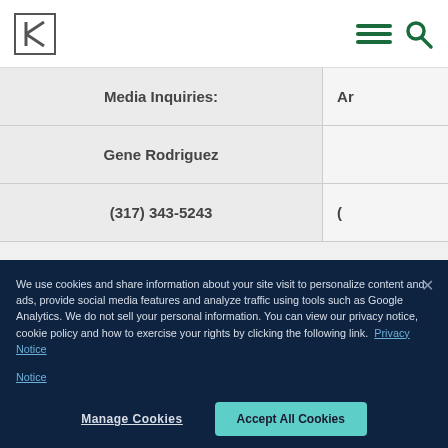Kroger website header with logo and navigation icons
| Left Column | Right Column (partial) |
| --- | --- |
| Media Inquiries: | Ar |
| Gene Rodriguez |  |
| (317) 343-5243 | ( |
We use cookies and share information about your site visit to personalize content and ads, provide social media features and analyze traffic using tools such as Google Analytics. We do not sell your personal information. You can view our privacy notice, cookie policy and how to exercise your rights by clicking the following link.  Privacy Notice
Manage Cookies | Accept All Cookies